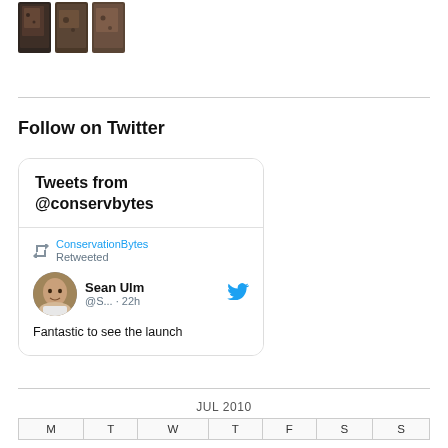[Figure (photo): Three dark mosaic/texture thumbnail images arranged horizontally]
Follow on Twitter
[Figure (screenshot): Twitter widget showing 'Tweets from @conservbytes' with a retweet from ConservationBytes of Sean Ulm (@S... · 22h): 'Fantastic to see the launch']
| M | T | W | T | F | S | S |
| --- | --- | --- | --- | --- | --- | --- |